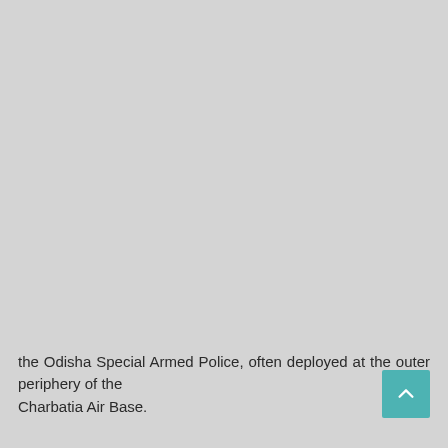the Odisha Special Armed Police, often deployed at the outer periphery of the Charbatia Air Base.